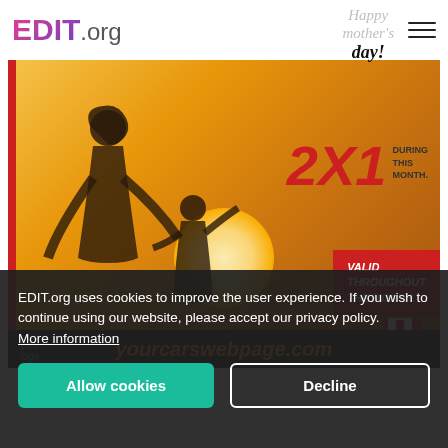EDIT.org
Happy mother's day!
[Figure (photo): Promotional Mother's Day image showing a mother and child holding hands on a beach at sunset with text '2X1 DURING THIS MONTH' and 'VALID THROUGHOUT THE MONTH' and URL 'yourcarswebpage.com']
EDIT.org uses cookies to improve the user experience. If you wish to continue using our website, please accept our privacy policy. More information
Allow cookies
Decline